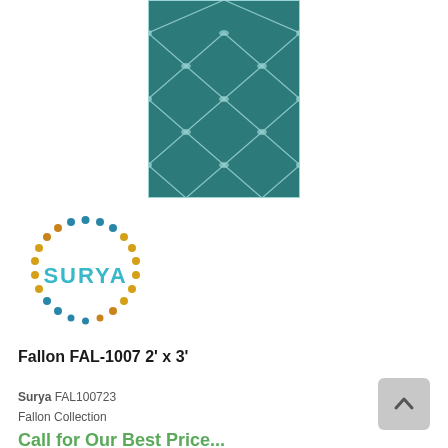[Figure (photo): Teal/dark green rug with a geometric trellis/lattice pattern in white/light lines forming repeating diamond and hourglass shapes.]
[Figure (logo): Surya brand logo: circular arrangement of multicolored dots (teal, gold, orange) surrounding the word SURYA in teal sans-serif letters.]
Fallon FAL-1007 2' x 3'
Surya FAL100723
Fallon Collection
Call for Our Best Price...